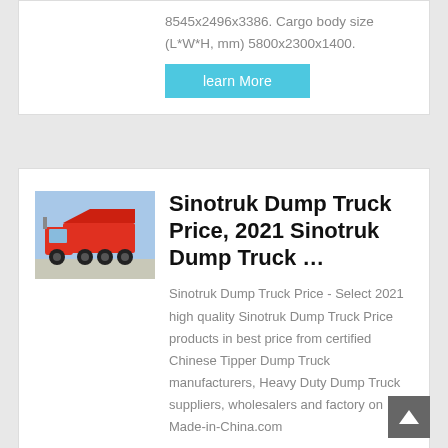8545x2496x3386. Cargo body size (L*W*H, mm) 5800x2300x1400.
learn More
[Figure (photo): Red Sinotruk dump truck parked in a lot, side/front view, blue sky background.]
Sinotruk Dump Truck Price, 2021 Sinotruk Dump Truck …
Sinotruk Dump Truck Price - Select 2021 high quality Sinotruk Dump Truck Price products in best price from certified Chinese Tipper Dump Truck manufacturers, Heavy Duty Dump Truck suppliers, wholesalers and factory on Made-in-China.com